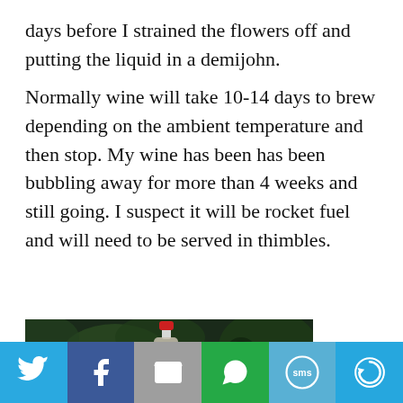days before I strained the flowers off and putting the liquid in a demijohn.
Normally wine will take 10-14 days to brew depending on the ambient temperature and then stop. My wine has been has been bubbling away for more than 4 weeks and still going. I suspect it will be rocket fuel and will need to be served in thimbles.
[Figure (photo): A bottle with a red cap among dark green foliage, outdoors in a garden setting.]
Social share bar with Twitter, Facebook, Email, WhatsApp, SMS, and More buttons